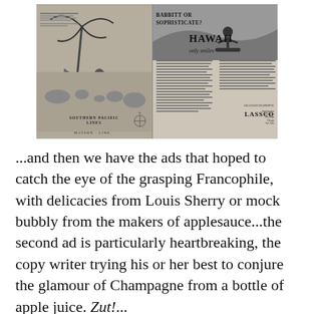[Figure (illustration): Vintage 1930s advertisement spread showing two ads side by side: left ad for Southern Pacific Lines / Matson Line featuring tropical illustration and map of Hawaii islands; right ad for LASSCO (Los Angeles Steamship Co) with text 'BABBITT OR SOPHISTICATE? HAWAII only smiles' and a surfer photograph at bottom right.]
...and then we have the ads that hoped to catch the eye of the grasping Francophile, with delicacies from Louis Sherry or mock bubbly from the makers of applesauce...the second ad is particularly heartbreaking, the copy writer trying his or her best to conjure the glamour of Champagne from a bottle of apple juice. Zut!...